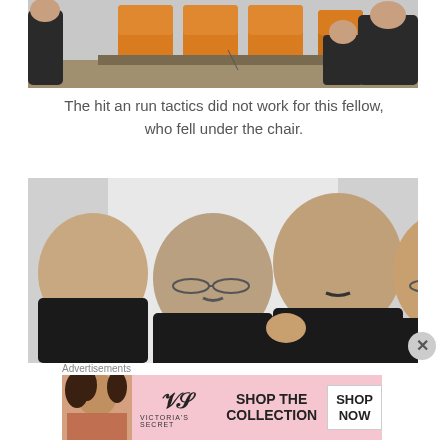[Figure (photo): Parliament chamber with orange seats, men in dark suits standing around]
The hit an run tactics did not work for this fellow, who fell under the chair.
[Figure (photo): Close-up of men in suits involved in a physical altercation, grabbing each other]
Advertisements
[Figure (screenshot): Victoria's Secret advertisement banner: SHOP THE COLLECTION - SHOP NOW button, with model photo]